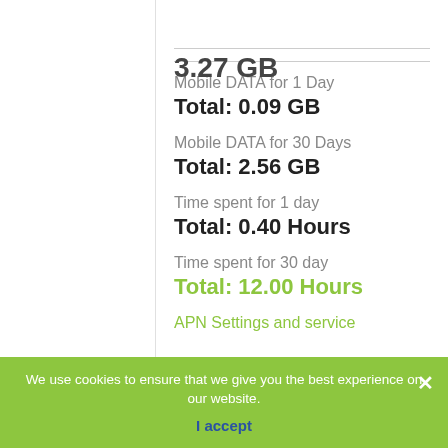Mobile DATA for 1 Day
Total: 0.09 GB
Mobile DATA for 30 Days
Total: 2.56 GB
Time spent for 1 day
Total: 0.40 Hours
Time spent for 30 day
Total: 12.00 Hours
APN Settings and service
We use cookies to ensure that we give you the best experience on our website.
I accept